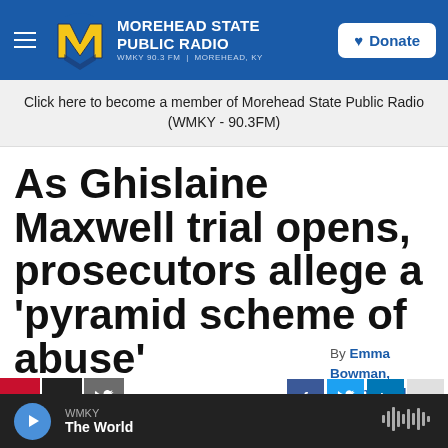MOREHEAD STATE PUBLIC RADIO WMKY 90.3 FM | MOREHEAD, KY  Donate
Click here to become a member of Morehead State Public Radio (WMKY - 90.3FM)
As Ghislaine Maxwell trial opens, prosecutors allege a 'pyramid scheme of abuse'
By Emma Bowman, Jason Breslow, Bill Chappell, James
WMKY The World